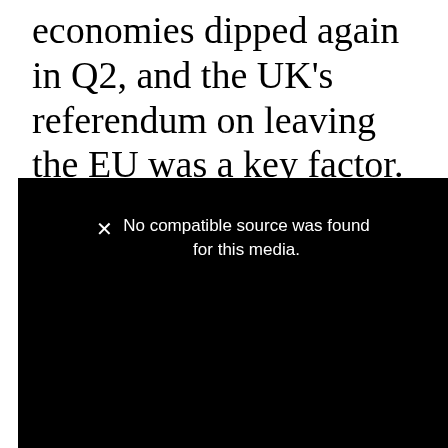economies dipped again in Q2, and the UK's referendum on leaving the EU was a key factor.
[Figure (other): Black video player placeholder showing error message: 'No compatible source was found for this media.']